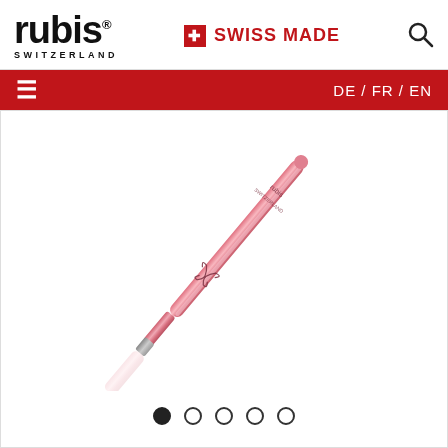[Figure (logo): Rubis Switzerland brand logo with stylized lowercase 'rubis' text and registered trademark symbol, with 'SWITZERLAND' subtitle]
SWISS MADE
[Figure (other): Search magnifying glass icon]
≡   DE / FR / EN
[Figure (photo): Pink/rose colored Rubis Switzerland tweezers with slanted tip, diagonal orientation, butterfly logo engraved on body, with subtle reflection below]
Image carousel dots: 1 filled (active), 4 empty circles